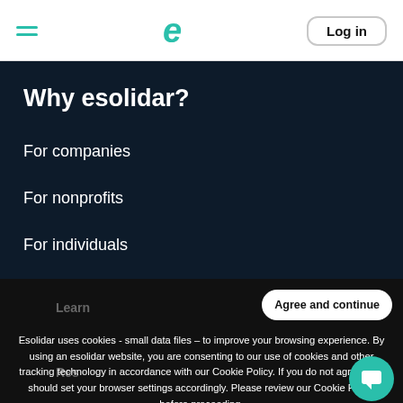esolidar — Log in
Why esolidar?
For companies
For nonprofits
For individuals
Esolidar uses cookies - small data files – to improve your browsing experience. By using an esolidar website, you are consenting to our use of cookies and other tracking technology in accordance with our Cookie Policy. If you do not agree, you should set your browser settings accordingly. Please review our Cookie Policy before proceeding.